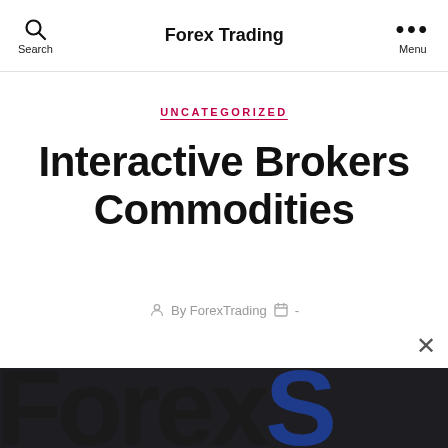Forex Trading
UNCATEGORIZED
Interactive Brokers Commodities
By ForexTrading -
[Figure (screenshot): Partial screenshot showing 'ForexS' text in large bold dark font on dark background, bottom portion of page]